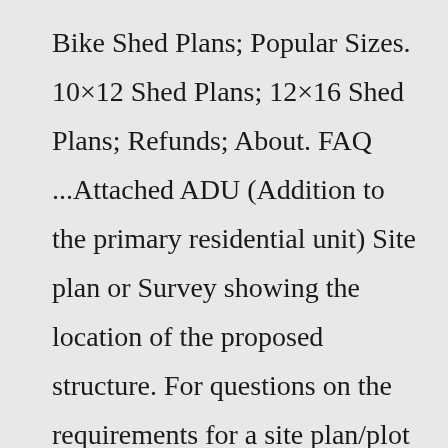Bike Shed Plans; Popular Sizes. 10×12 Shed Plans; 12×16 Shed Plans; Refunds; About. FAQ ...Attached ADU (Addition to the primary residential unit) Site plan or Survey showing the location of the proposed structure. For questions on the requirements for a site plan/plot plan/survey, contact zoning at Zoning@ocfl.net or call 407-836-3111. Lot Grading/Drainage Plan and finished floor